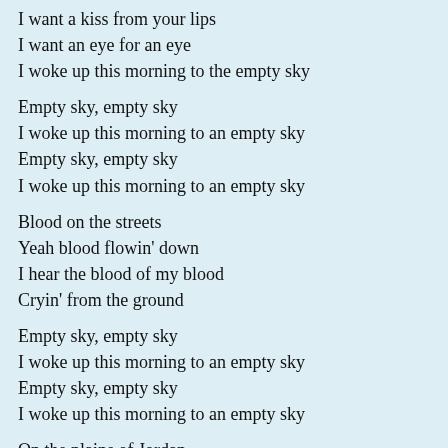I want a kiss from your lips
I want an eye for an eye
I woke up this morning to the empty sky
Empty sky, empty sky
I woke up this morning to an empty sky
Empty sky, empty sky
I woke up this morning to an empty sky
Blood on the streets
Yeah blood flowin' down
I hear the blood of my blood
Cryin' from the ground
Empty sky, empty sky
I woke up this morning to an empty sky
Empty sky, empty sky
I woke up this morning to an empty sky
On the plains of Jordan
I cut my bow from the wood
Of this tree of evil